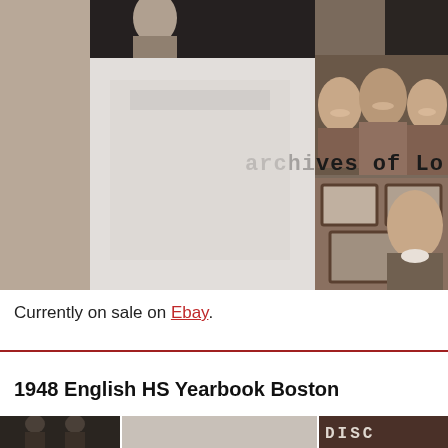[Figure (photo): Vintage black and white photograph collage showing groups of people, likely from a 1940s high school yearbook. Overlaid text reads 'archives of Lo...' in typewriter font. Left portion shows a lighter/washed out photo area, right portion shows groups of smiling young people and a girl in lower center.]
Currently on sale on Ebay.
[Figure (photo): Bottom strip showing partial yearbook photos, including what appears to be student portraits and text 'DISC...' on the right side.]
1948 English HS Yearbook Boston